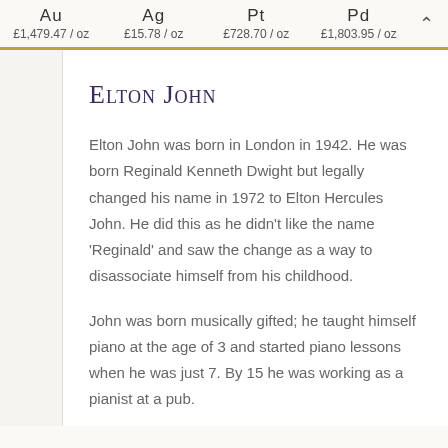Au £1,479.47 / oz   Ag £15.78 / oz   Pt £728.70 / oz   Pd £1,803.95 / oz
Elton John
Elton John was born in London in 1942. He was born Reginald Kenneth Dwight but legally changed his name in 1972 to Elton Hercules John. He did this as he didn't like the name 'Reginald' and saw the change as a way to disassociate himself from his childhood.
John was born musically gifted; he taught himself piano at the age of 3 and started piano lessons when he was just 7. By 15 he was working as a pianist at a pub.